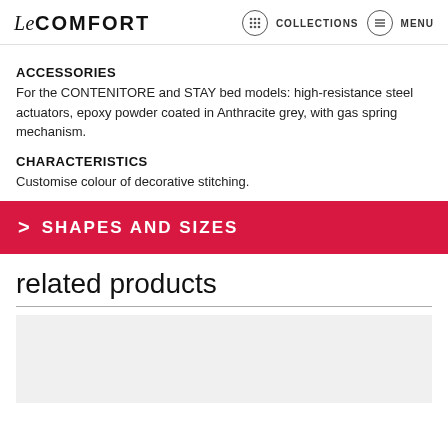Le COMFORT — COLLECTIONS — MENU
ACCESSORIES
For the CONTENITORE and STAY bed models: high-resistance steel actuators, epoxy powder coated in Anthracite grey, with gas spring mechanism.
CHARACTERISTICS
Customise colour of decorative stitching.
> SHAPES AND SIZES
related products
[Figure (photo): Light gray rectangular placeholder area for a related product image]